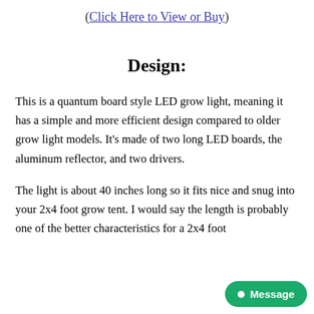(Click Here to View or Buy)
Design:
This is a quantum board style LED grow light, meaning it has a simple and more efficient design compared to older grow light models. It’s made of two long LED boards, the aluminum reflector, and two drivers.
The light is about 40 inches long so it fits nice and snug into your 2x4 foot grow tent. I would say the length is probably one of the better characteristics for a 2x4 foot